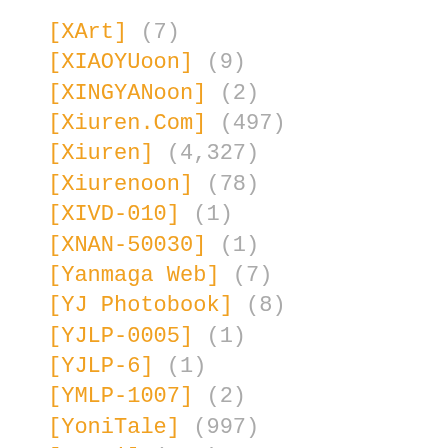[XArt] (7)
[XIAOYUoon] (9)
[XINGYANoon] (2)
[Xiuren.Com] (497)
[Xiuren] (4,327)
[Xiurenoon] (78)
[XIVD-010] (1)
[XNAN-50030] (1)
[Yanmaga Web] (7)
[YJ Photobook] (8)
[YJLP-0005] (1)
[YJLP-6] (1)
[YMLP-1007] (2)
[YoniTale] (997)
[YouMi] (155)